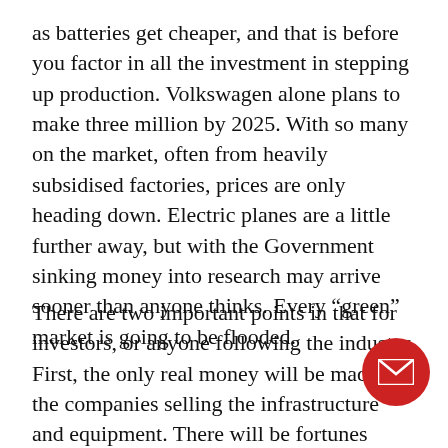as batteries get cheaper, and that is before you factor in all the investment in stepping up production. Volkswagen alone plans to make three million by 2025. With so many on the market, often from heavily subsidised factories, prices are only heading down. Electric planes are a little further away, but with the Government sinking money into research may arrive sooner than anyone thinks. Every “green” market is going to be flooded.
There are two important points in that for investors, or anyone following the industry. First, the only real money will be made by the companies selling the infrastructure and equipment. There will be fortunes made in selling solar panels and wind generators, building battery plants, and designing hydrogen cells. Consultants and engineers will be in demand and